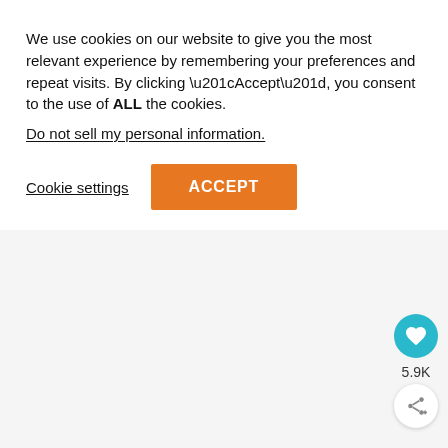We use cookies on our website to give you the most relevant experience by remembering your preferences and repeat visits. By clicking “Accept”, you consent to the use of ALL the cookies.
Do not sell my personal information.
Cookie settings
ACCEPT
[Figure (other): Light gray background area below cookie banner divider, with social sharing widget in bottom-right corner showing a teal heart/like button, a 5.9K count label, and a white share button with plus icon.]